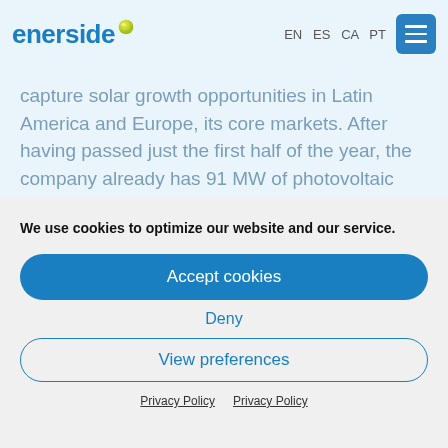[Figure (logo): Enerside company logo with blue text and yellow-green circular dot]
EN  ES  CA  PT
capture solar growth opportunities in Latin America and Europe, its core markets. After having passed just the first half of the year, the company already has 91 MW of photovoltaic solar power
We use cookies to optimize our website and our service.
Accept cookies
Deny
View preferences
Privacy Policy  Privacy Policy